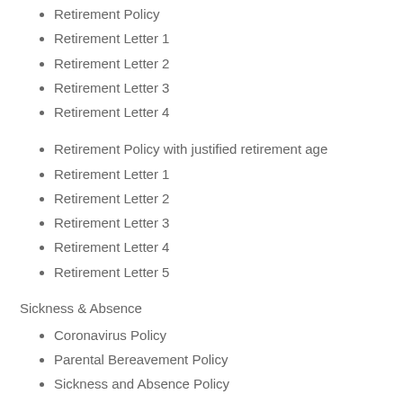Retirement Policy
Retirement Letter 1
Retirement Letter 2
Retirement Letter 3
Retirement Letter 4
Retirement Policy with justified retirement age
Retirement Letter 1
Retirement Letter 2
Retirement Letter 3
Retirement Letter 4
Retirement Letter 5
Sickness & Absence
Coronavirus Policy
Parental Bereavement Policy
Sickness and Absence Policy
Sickness Self-Certification Form
Training Request Form